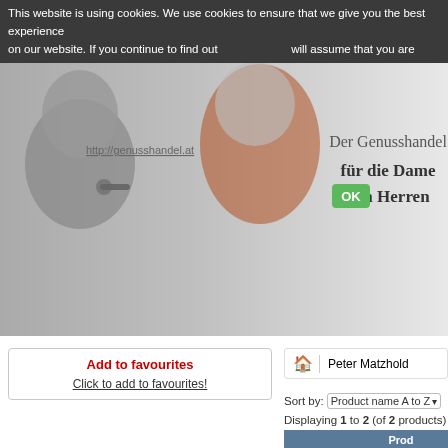This website is using cookies. We use cookies to ensure that we give you the best experience on our website. If you continue to find out http://genusshandel.at will assume that you are happy with it. [OK button]
[Figure (photo): Header banner with black and white photo of a man and woman, man smoking a pipe, woman in orange dress. Text: Der Genusshandel für die Damen und den Herren. URL: http://genusshandel.at. OK green button overlay.]
Add to favourites
Click to add to favourites!
Search
Searchphrase
Advanced Search
Manufacturers
Peter Matzhold
Manufacturers
Peter Matzhold
Sort by: Product name A to Z
Displaying 1 to 2 (of 2 products)
[Figure (photo): Product image of a wooden tobacco pipe, light brown/orange wood color]
Pe... (product name truncated)